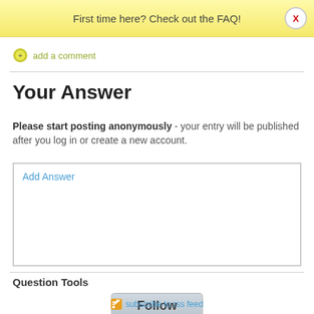First time here? Check out the FAQ!
add a comment
Your Answer
Please start posting anonymously - your entry will be published after you log in or create a new account.
Add Answer
Question Tools
Follow
subscribe to rss feed